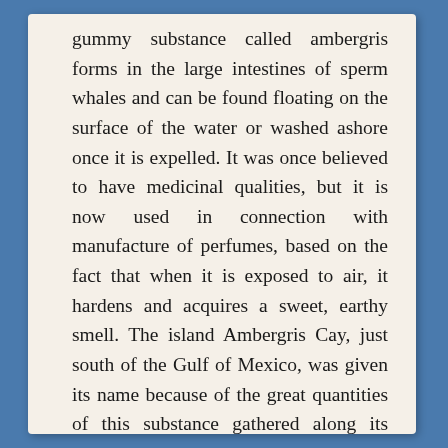gummy substance called ambergris forms in the large intestines of sperm whales and can be found floating on the surface of the water or washed ashore once it is expelled. It was once believed to have medicinal qualities, but it is now used in connection with manufacture of perfumes, based on the fact that when it is exposed to air, it hardens and acquires a sweet, earthy smell. The island Ambergris Cay, just south of the Gulf of Mexico, was given its name because of the great quantities of this substance gathered along its shores.